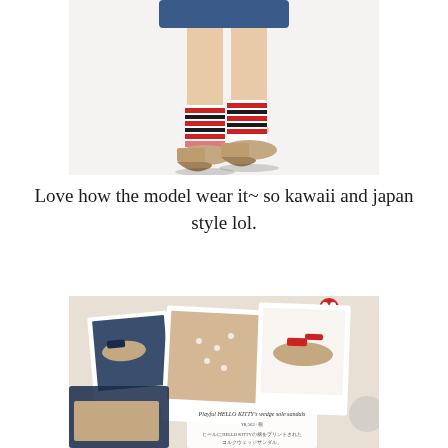[Figure (photo): Close-up photo of a model's legs wearing striped red, white and black socks with Hello Kitty wedge sandals, short blue skirt visible at top, white background]
Love how the model wear it~ so kawaii and japan style lol.
[Figure (photo): Product flat-lay photo of Hello Kitty wedge sole sandals collection, showing multiple sandal styles in navy/white and red/white with cork wedge soles, Hello Kitty decorations, playful sticker-style graphics around the shoes. Text reads: Playful HELLO KITTY's wedge sole sandals, price ¥8,562+税, with Japanese description text.]